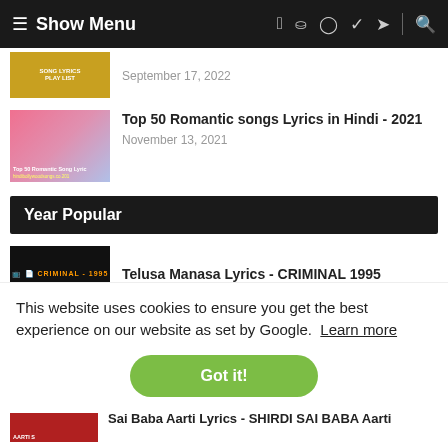☰ Show Menu  f  p  ◻  ♦  ✈  🔍
[Figure (photo): Partially visible article thumbnail with orange/gold background]
[Figure (photo): Pink romantic song lyrics thumbnail with couple image]
Top 50 Romantic songs Lyrics in Hindi - 2021
November 13, 2021
Year Popular
[Figure (photo): Dark thumbnail with CRIMINAL 1995 text]
Telusa Manasa Lyrics - CRIMINAL 1995
This website uses cookies to ensure you get the best experience on our website as set by Google.  Learn more
Got it!
[Figure (photo): Red thumbnail with AARTI text]
Sai Baba Aarti Lyrics - SHIRDI SAI BABA Aarti